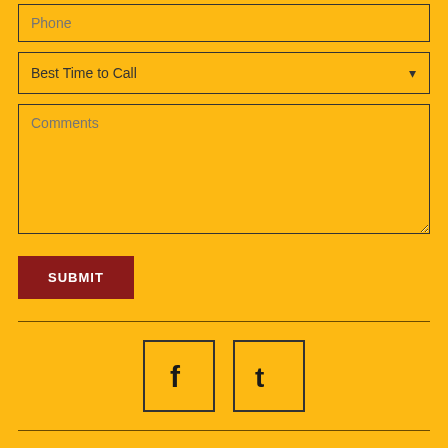Phone
Best Time to Call
Comments
SUBMIT
[Figure (infographic): Facebook and Twitter social media icons in square border boxes]
© 2022 Princeton Painters. All Rights Reserved